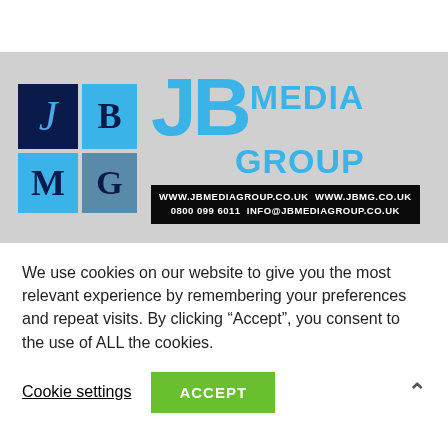[Figure (logo): JB Media Group logo with colored grid squares (J, B, M, G), large cyan JB letters, MEDIA GROUP text, and a black bar with website and contact info: www.jbmediagroup.co.uk www.jbmg.co.uk 0800 099 6011 info@jbmediagroup.co.uk]
We use cookies on our website to give you the most relevant experience by remembering your preferences and repeat visits. By clicking “Accept”, you consent to the use of ALL the cookies.
Cookie settings
ACCEPT